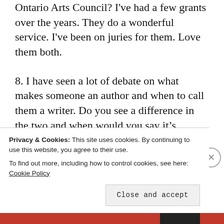Ontario Arts Council? I've had a few grants over the years. They do a wonderful service. I've been on juries for them. Love them both.
8. I have seen a lot of debate on what makes someone an author and when to call them a writer. Do you see a difference in the two and when would you say it's appropriate to use either one? Yes, I've been hearing a bit about that lately too. I'm not sure, but I think I d…
Privacy & Cookies: This site uses cookies. By continuing to use this website, you agree to their use.
To find out more, including how to control cookies, see here: Cookie Policy
Close and accept